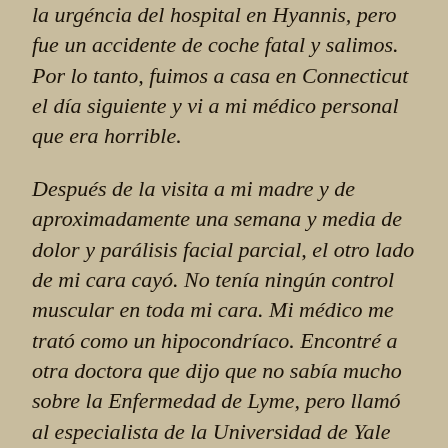la urgéncia del hospital en Hyannis, pero fue un accidente de coche fatal y salimos. Por lo tanto, fuimos a casa en Connecticut el día siguiente y vi a mi médico personal que era horrible.
Después de la visita a mi madre y de aproximadamente una semana y media de dolor y parálisis facial parcial, el otro lado de mi cara cayó. No tenía ningún control muscular en toda mi cara. Mi médico me trató como un hipocondríaco. Encontré a otra doctora que dijo que no sabía mucho sobre la Enfermedad de Lyme, pero llamó al especialista de la Universidad de Yale que dijo que los síntomas la indicaban. Ella me consiguió en esa tarde. Hizo un análisis de sangre precipitado y me dijo que era probable la